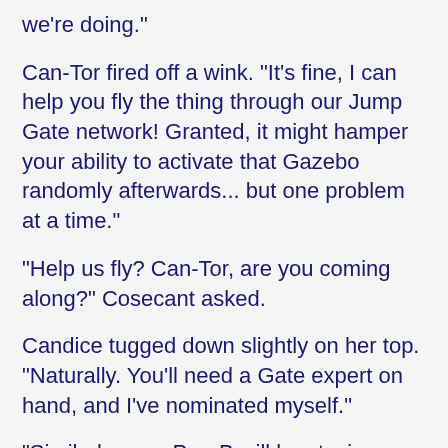we're doing."
Can-Tor fired off a wink. "It's fine, I can help you fly the thing through our Jump Gate network! Granted, it might hamper your ability to activate that Gazebo randomly afterwards... but one problem at a time."
"Help us fly? Can-Tor, are you coming along?" Cosecant asked.
Candice tugged down slightly on her top. "Naturally. You'll need a Gate expert on hand, and I've nominated myself."
"Similarly, your ParaB will be staying here," Hill announced.
"Wait, what?" chorused both ParaB and QT.
"Because" Hill announced th...